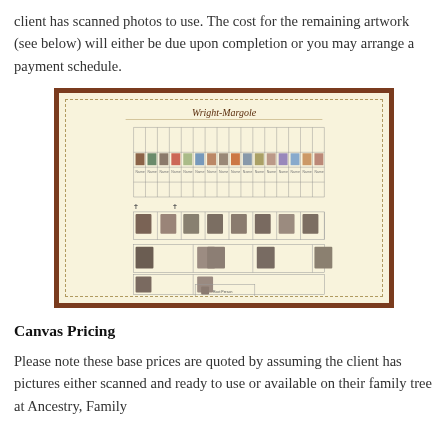client has scanned photos to use. The cost for the remaining artwork (see below) will either be due upon completion or you may arrange a payment schedule.
[Figure (illustration): A sample family tree canvas print titled 'Wright-Margole' with a cream/ivory background, dark brown decorative border, and a genealogy chart showing multiple generations with small portrait photos and names arranged in a traditional ancestor chart style.]
Canvas Pricing
Please note these base prices are quoted by assuming the client has pictures either scanned and ready to use or available on their family tree at Ancestry, Family